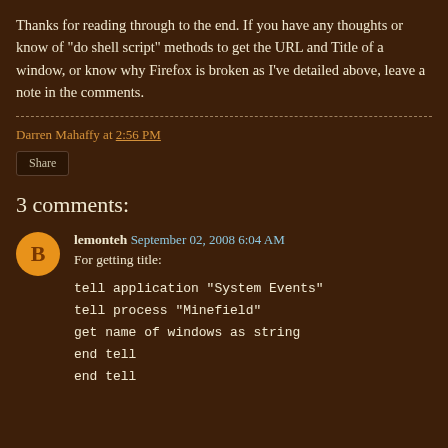Thanks for reading through to the end. If you have any thoughts or know of "do shell script" methods to get the URL and Title of a window, or know why Firefox is broken as I've detailed above, leave a note in the comments.
Darren Mahaffy at 2:56 PM
Share
3 comments:
lemonteh  September 02, 2008 6:04 AM
For getting title:
tell application "System Events"
tell process "Minefield"
get name of windows as string
end tell
end tell